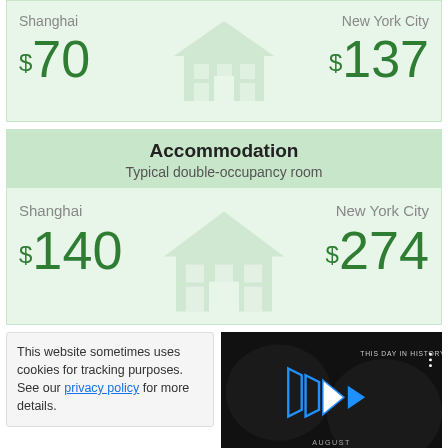[Figure (infographic): Top card (cropped) showing hotel/accommodation price comparison: Shanghai $70, New York City $137, with building watermark icon in center]
[Figure (infographic): Accommodation card: header says 'Accommodation / Typical double-occupancy room'. Body shows Shanghai $140 vs New York City $274, with house watermark in center.]
This website sometimes uses cookies for tracking purposes. See our privacy policy for more details.
[Figure (screenshot): Video thumbnail showing 'THIS DAY IN HISTORY' with blue play button icons, AUGUST label, and video controls bar at bottom with mute icon, progress bar, and fullscreen button.]